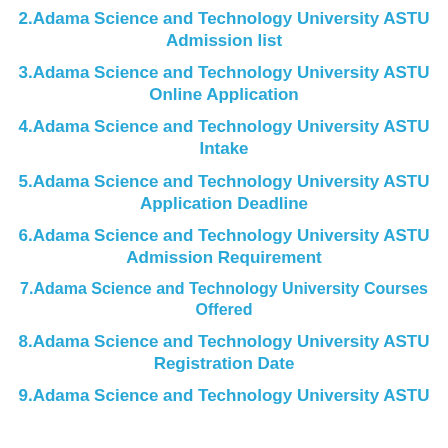2.Adama Science and Technology University ASTU Admission list
3.Adama Science and Technology University ASTU Online Application
4.Adama Science and Technology University ASTU Intake
5.Adama Science and Technology University ASTU Application Deadline
6.Adama Science and Technology University ASTU Admission Requirement
7.Adama Science and Technology University Courses Offered
8.Adama Science and Technology University ASTU Registration Date
9.Adama Science and Technology University ASTU